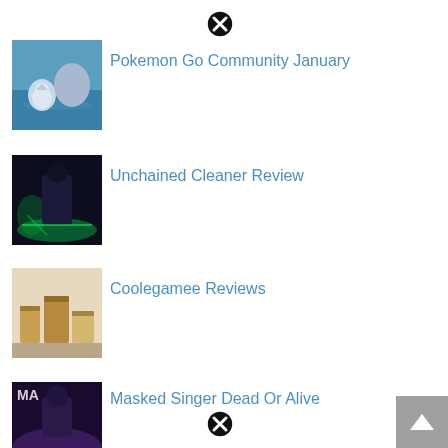[Figure (other): Close/dismiss button (X icon) at top center]
[Figure (photo): Pokemon Go thumbnail showing Piplup and Empoleon on water background]
Pokemon Go Community January
[Figure (photo): Unchained Cleaner thumbnail showing dark fantasy artwork with glowing green effects]
Unchained Cleaner Review
[Figure (photo): Coolegamee Reviews thumbnail showing jars and containers on a table]
Coolegamee Reviews
[Figure (photo): Masked Singer Dead Or Alive thumbnail showing performer on stage with purple lighting]
Masked Singer Dead Or Alive
[Figure (other): Close/dismiss button (X icon) at bottom center]
[Figure (other): Scroll to top button (chevron up arrow) at bottom right]